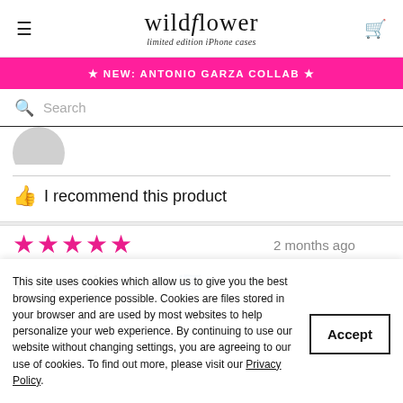wildflower limited edition iPhone cases
★ NEW: ANTONIO GARZA COLLAB ★
Search
I recommend this product
★★★★★ 2 months ago
The prettiest case 🇬🇷
This site uses cookies which allow us to give you the best browsing experience possible. Cookies are files stored in your browser and are used by most websites to help personalize your web experience. By continuing to use our website without changing settings, you are agreeing to our use of cookies. To find out more, please visit our Privacy Policy.